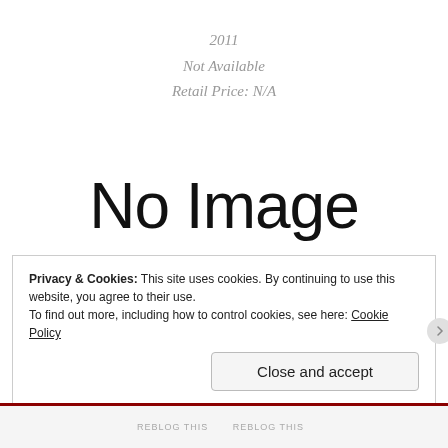2011
Not Available
Retail Price: N/A
[Figure (other): Placeholder image with text 'No Image Avaliable' in large thin font]
Privacy & Cookies: This site uses cookies. By continuing to use this website, you agree to their use.
To find out more, including how to control cookies, see here: Cookie Policy
Close and accept